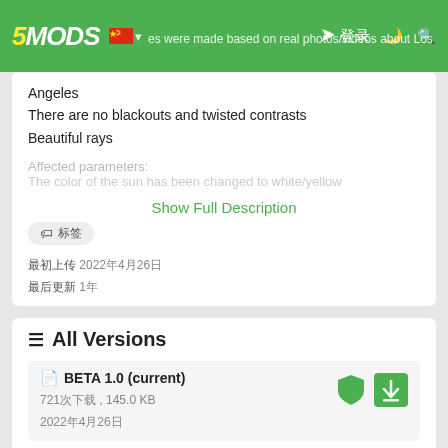5MODS
Angeles
There are no blackouts and twisted contrasts
Beautiful rays
Affected parameters:
The color of the sun has been changed to white/yellow
Show Full Description
标签
最初上传 2022年4月26日
最后更新 1年
All Versions
BETA 1.0 (current)
721次下载 , 145.0 KB
2022年4月26日